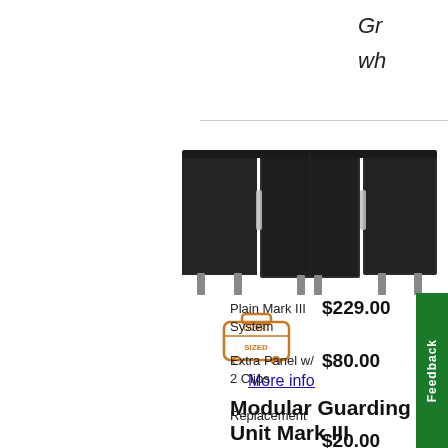Gr
wh
[Figure (photo): Modular Guarding Unit Mark III product photo showing dark fabric panels with clear clips, with an oversized shipping badge below]
More info
Modular Guarding Unit Mark III
Plain Mark III System
$229.00
Extra Panel w/ 2 Clips
$80.00
Replacement
$20.00